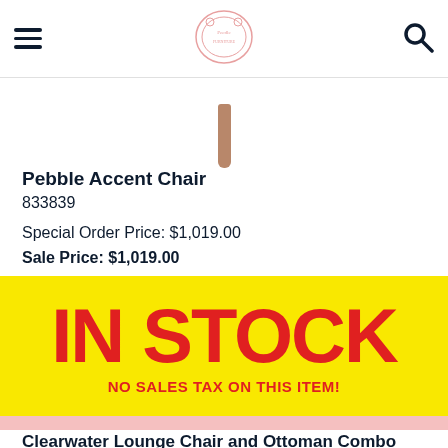[hamburger menu] [Peedle logo] [search icon]
[Figure (photo): Partial product image showing a wooden chair leg in brown/tan color against white background]
Pebble Accent Chair
833839
Special Order Price: $1,019.00
Sale Price: $1,019.00
[Figure (infographic): Yellow banner with red bold text reading IN STOCK and below it NO SALES TAX ON THIS ITEM!]
Clearwater Lounge Chair and Ottoman Combo